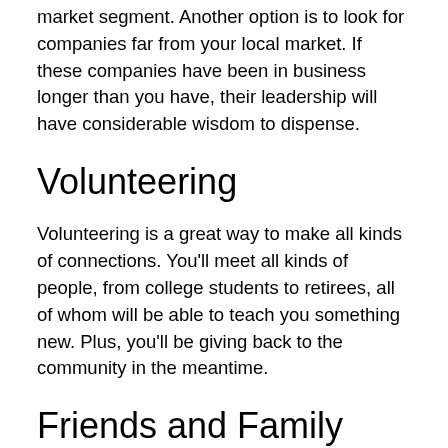market segment. Another option is to look for companies far from your local market. If these companies have been in business longer than you have, their leadership will have considerable wisdom to dispense.
Volunteering
Volunteering is a great way to make all kinds of connections. You'll meet all kinds of people, from college students to retirees, all of whom will be able to teach you something new. Plus, you'll be giving back to the community in the meantime.
Friends and Family
Have you asked around your circle of friends and family? Someone on your contacts list might know a